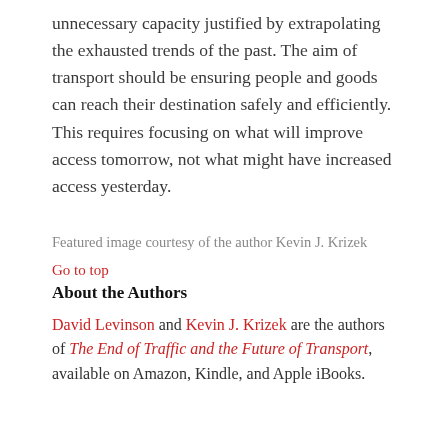unnecessary capacity justified by extrapolating the exhausted trends of the past. The aim of transport should be ensuring people and goods can reach their destination safely and efficiently. This requires focusing on what will improve access tomorrow, not what might have increased access yesterday.
Featured image courtesy of the author Kevin J. Krizek
Go to top
About the Authors
David Levinson and Kevin J. Krizek are the authors of The End of Traffic and the Future of Transport, available on Amazon, Kindle, and Apple iBooks.